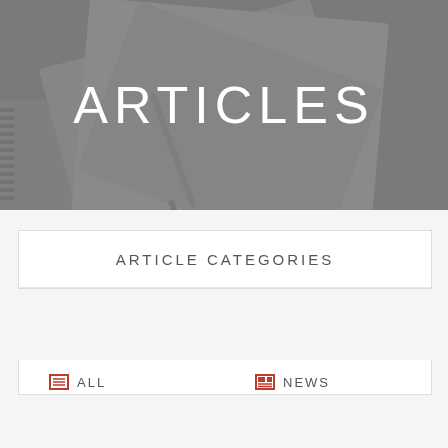[Figure (photo): Overhead view of notebooks, pen/pencil, and papers on a desk, shown in grayscale with gray overlay. Title 'ARTICLES' displayed in large white uppercase letters centered on the image.]
ARTICLES
ARTICLE CATEGORIES
ALL
NEWS